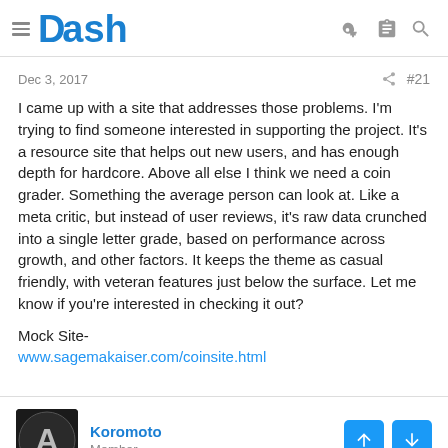Dash
Dec 3, 2017   #21
I came up with a site that addresses those problems. I'm trying to find someone interested in supporting the project. It's a resource site that helps out new users, and has enough depth for hardcore. Above all else I think we need a coin grader. Something the average person can look at. Like a meta critic, but instead of user reviews, it's raw data crunched into a single letter grade, based on performance across growth, and other factors. It keeps the theme as casual friendly, with veteran features just below the surface. Let me know if you're interested in checking it out?

Mock Site-
www.sagemakaiser.com/coinsite.html
Koromoto
Member